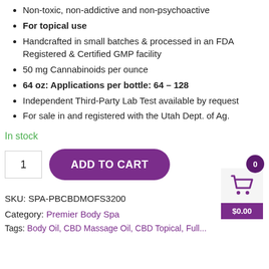Non-toxic, non-addictive and non-psychoactive
For topical use
Handcrafted in small batches & processed in an FDA Registered & Certified GMP facility
50 mg Cannabinoids per ounce
64 oz: Applications per bottle: 64 – 128
Independent Third-Party Lab Test available by request
For sale in and registered with the Utah Dept. of Ag.
In stock
1  ADD TO CART  $0.00
SKU: SPA-PBCBDMOFS3200
Category: Premier Body Spa
Tags: Body Oil, CBD Massage Oil, CBD Topical, Full...